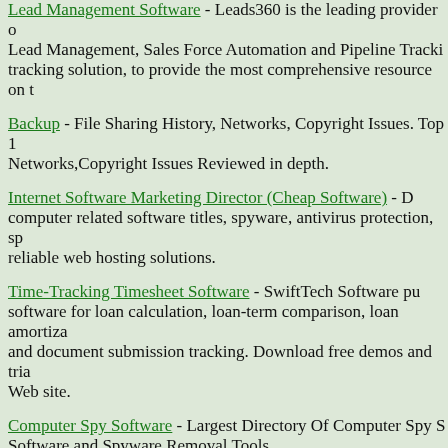Lead Management Software - Leads360 is the leading provider of Lead Management, Sales Force Automation and Pipeline Tracking solution, to provide the most comprehensive resource on the...
Backup - File Sharing History, Networks, Copyright Issues. Top Networks,Copyright Issues Reviewed in depth.
Internet Software Marketing Director (Cheap Software) - D... computer related software titles, spyware, antivirus protection, sp... reliable web hosting solutions.
Time-Tracking Timesheet Software - SwiftTech Software pu... software for loan calculation, loan-term comparison, loan amortiza... and document submission tracking. Download free demos and tria... Web site.
Computer Spy Software - Largest Directory Of Computer Spy S... Software and Spyware Removal Tools.
Recover a lost file, password,email, database or photo with Pe... premier onlinesource of software to recover deleted files, reform... restore passwords.
Spyware Remover and Adware Removal Tools - Eliminate All Adv... and Protect Your Privacy!